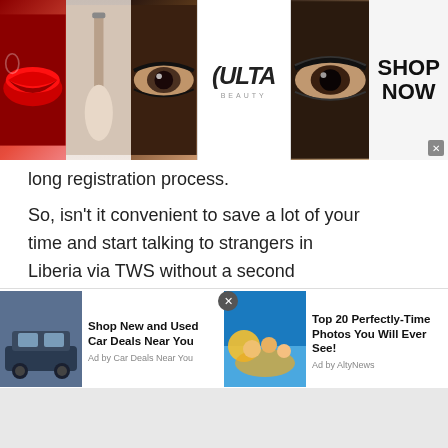[Figure (photo): Top banner advertisement for Ulta Beauty showing collage of makeup images (lips, makeup brush, eye with dramatic makeup), Ulta Beauty logo in center, more eye makeup images, and 'SHOP NOW' call to action button with close X]
long registration process.
So, isn't it convenient to save a lot of your time and start talking to strangers in Liberia via TWS without a second thought? Of course, yes. You can enjoy a free chat or join TWS no login chat rooms without wasting a minute.
Anonymous or Secret chat
[Figure (photo): Bottom advertisement row: Left ad shows SUV car image with text 'Shop New and Used Car Deals Near You' by Car Deals Near You. Right ad shows beach photo with people and text 'Top 20 Perfectly-Time Photos You Will Ever See!' by AltyNews. Close button between ads.]